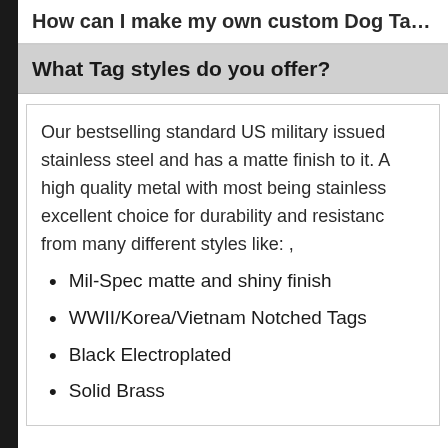How can I make my own custom Dog Ta…
What Tag styles do you offer?
Our bestselling standard US military issued stainless steel and has a matte finish to it. high quality metal with most being stainless excellent choice for durability and resistance from many different styles like: ,
Mil-Spec matte and shiny finish
WWII/Korea/Vietnam Notched Tags
Black Electroplated
Solid Brass